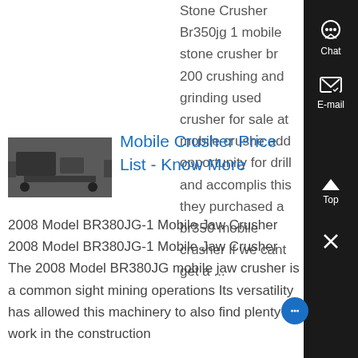Stone Crusher Br350jg 1 mobile stone crusher br 200 crushing and grinding used crusher for sale at mobile crushe add opportunity for drill and accomplis this they purchased a br350 mobile crusher if we cant get a ...
[Figure (photo): Thumbnail image of a mobile crusher machine, dark/grey tones]
Mobile Crusher Price List - Know More
2008 Model BR380JG-1 Mobile Jaw Crusher 2008 Model BR380JG-1 Mobile Jaw Crusher The 2008 Model BR380JG mobile jaw crusher is a common sight mining operations Its versatility has allowed this machinery to also find plenty of work in the construction